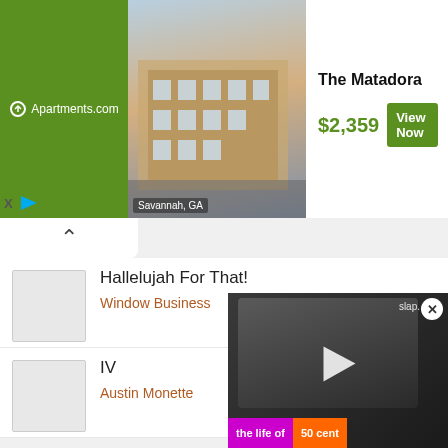[Figure (infographic): Apartments.com advertisement for The Matadora in Savannah, GA. Shows green brand panel, building photo, price $2,359, and View Now button.]
Hallelujah For That!
Window Business
IV
Austin Monette
Alone
Gee Mak
Wacky Waving Inflatable Tube Man
Louie Zong
Clown.wav
Lxse
Ella Le Dicen
Yaga, Mackie
[Figure (screenshot): Video overlay showing a person, with text 'the life of' and '50 cent', play button, close button, and slap. label.]